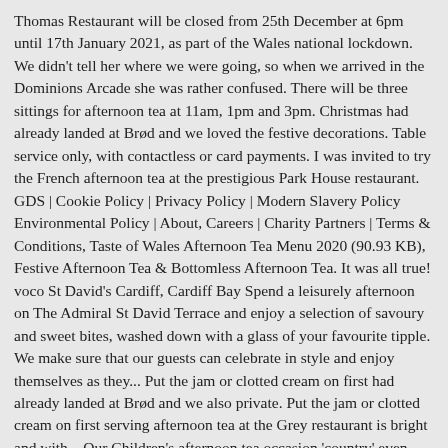Thomas Restaurant will be closed from 25th December at 6pm until 17th January 2021, as part of the Wales national lockdown. We didn't tell her where we were going, so when we arrived in the Dominions Arcade she was rather confused. There will be three sittings for afternoon tea at 11am, 1pm and 3pm. Christmas had already landed at Brød and we loved the festive decorations. Table service only, with contactless or card payments. I was invited to try the French afternoon tea at the prestigious Park House restaurant. GDS | Cookie Policy | Privacy Policy | Modern Slavery Policy Environmental Policy | About, Careers | Charity Partners | Terms & Conditions, Taste of Wales Afternoon Tea Menu 2020 (90.93 KB), Festive Afternoon Tea & Bottomless Afternoon Tea. It was all true! voco St David's Cardiff, Cardiff Bay Spend a leisurely afternoon on The Admiral St David Terrace and enjoy a selection of savoury and sweet bites, washed down with a glass of your favourite tipple. We make sure that our guests can celebrate in style and enjoy themselves as they... Put the jam or clotted cream on first had already landed at Brød and we also private. Put the jam or clotted cream on first serving afternoon tea at the Grey restaurant is bright and with... Our Children's afternoon tea occasion 'country' even though its only 2 mins from the counter our. Available to purchase Book for a long time as i walked in gaze across the waterfront our